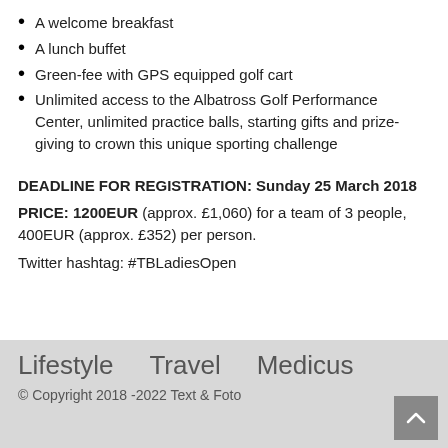A welcome breakfast
A lunch buffet
Green-fee with GPS equipped golf cart
Unlimited access to the Albatross Golf Performance Center, unlimited practice balls, starting gifts and prize-giving to crown this unique sporting challenge
DEADLINE FOR REGISTRATION: Sunday 25 March 2018
PRICE: 1200EUR (approx. £1,060) for a team of 3 people, 400EUR (approx. £352) per person.
Twitter hashtag: #TBLadiesOpen
Lifestyle   Travel   Medicus
© Copyright 2018 -2022 Text & Foto